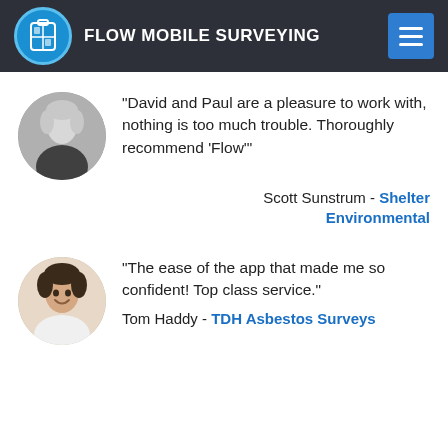FLOW MOBILE SURVEYING
[Figure (photo): Black and white circular avatar photo of a person (Scott Sunstrum)]
"David and Paul are a pleasure to work with, nothing is too much trouble. Thoroughly recommend 'Flow'"
Scott Sunstrum - Shelter Environmental
[Figure (photo): Circular avatar photo of a young man smiling (Tom Haddy)]
"The ease of the app that made me so confident! Top class service."
Tom Haddy - TDH Asbestos Surveys